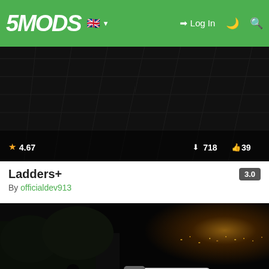5MODS | Log In
[Figure (screenshot): Dark indoor scene with ceiling grid, GTA mod preview image for Ladders+]
Ladders+  3.0
By officialdev913
★ 4.67   ⬇ 718  👍 39
[Figure (screenshot): Night scene with white sports car on dark road, GTA mod preview for Whistle For Your Vehicle (FINAL). Shows X badge overlay.]
Whistle For Your Vehicle (FINAL)  4.0
By officialdev913
★ 4.75   ⬇ 1,291  👍 16